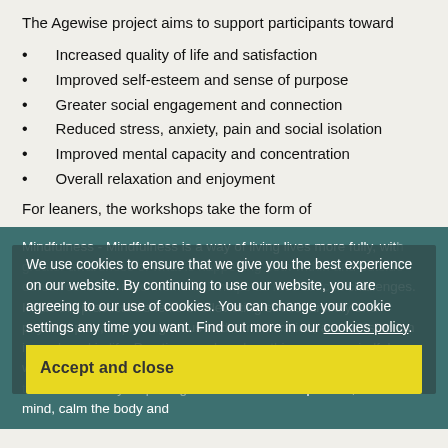The Agewise project aims to support participants toward
Increased quality of life and satisfaction
Improved self-esteem and sense of purpose
Greater social engagement and connection
Reduced stress, anxiety, pain and social isolation
Improved mental capacity and concentration
Overall relaxation and enjoyment
For leaners, the workshops take the form of
Mindfulness - Mindfulness is a way of living lives more fully, with greater awareness of what is happening both within and outside ourselves moment to moment. It helps us face difficult challenges. It has the practical benefits of alleviating stress, anxiety and physical pain, improving focus and concentration, and satisfaction in work and in life. Practices such as breathing space, mindful walking, sitting with awareness are ideal for older adults in transition as they help bring the attention to the present, focus the mind, calm the body and take care of feelings. These practices promote
We use cookies to ensure that we give you the best experience on our website. By continuing to use our website, you are agreeing to our use of cookies. You can change your cookie settings any time you want. Find out more in our cookies policy.